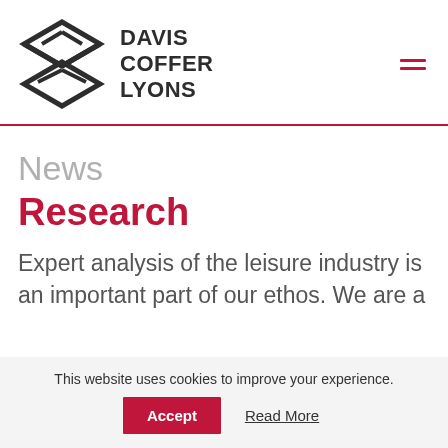[Figure (logo): Davis Coffer Lyons geometric logo mark (overlapping diamond/arrow shapes in dark grey) alongside bold text 'DAVIS COFFER LYONS']
News
Research
Expert analysis of the leisure industry is an important part of our ethos. We are a
This website uses cookies to improve your experience.